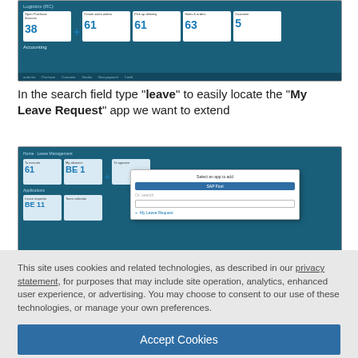[Figure (screenshot): Screenshot of a logistics/accounting application dashboard showing cards with numbers and a toolbar]
In the search field type "leave" to easily locate the "My Leave Request" app we want to extend
[Figure (screenshot): Screenshot of an application with a popup dialog titled 'Select an app' showing a search field and 'My Leave Request' result]
This site uses cookies and related technologies, as described in our privacy statement, for purposes that may include site operation, analytics, enhanced user experience, or advertising. You may choose to consent to our use of these technologies, or manage your own preferences.
Accept Cookies
More Information
Privacy Policy | Powered by: TrustArc